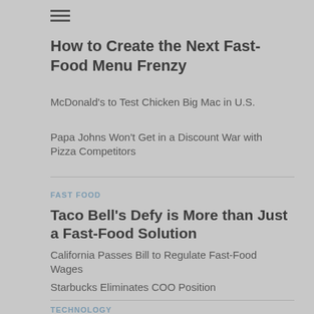How to Create the Next Fast-Food Menu Frenzy
McDonald's to Test Chicken Big Mac in U.S.
Papa Johns Won't Get in a Discount War with Pizza Competitors
FAST FOOD
Taco Bell's Defy is More than Just a Fast-Food Solution
California Passes Bill to Regulate Fast-Food Wages
Starbucks Eliminates COO Position
TECHNOLOGY